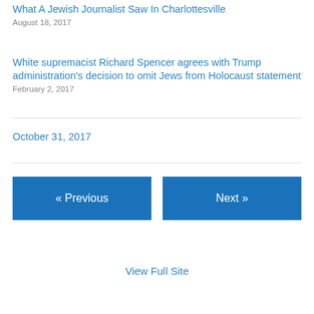What A Jewish Journalist Saw In Charlottesville
August 18, 2017
White supremacist Richard Spencer agrees with Trump administration's decision to omit Jews from Holocaust statement
February 2, 2017
October 31, 2017
« Previous
Next »
View Full Site